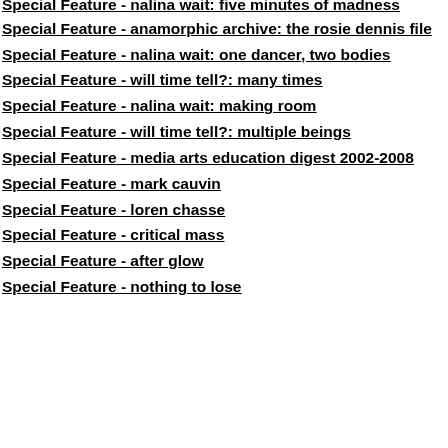Special Feature - nalina wait: five minutes of madness
Special Feature - anamorphic archive: the rosie dennis file
Special Feature - nalina wait: one dancer, two bodies
Special Feature - will time tell?: many times
Special Feature - nalina wait: making room
Special Feature - will time tell?: multiple beings
Special Feature - media arts education digest 2002-2008
Special Feature - mark cauvin
Special Feature - loren chasse
Special Feature - critical mass
Special Feature - after glow
Special Feature - nothing to lose